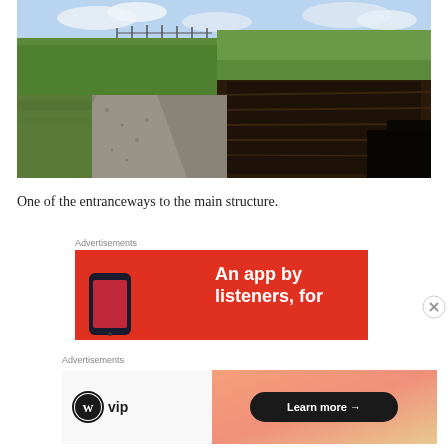[Figure (photo): Outdoor photo showing a gravel path alongside a turf or sod wall with green grass on top. Appears to be a historic site with wooden fence posts visible in the background under a partly cloudy sky.]
One of the entranceways to the main structure.
Advertisements
[Figure (screenshot): Red advertisement banner with white bold text reading 'An app by listeners, for' and a phone graphic on the left.]
Advertisements
[Figure (screenshot): WordPress VIP advertisement with logo on the left and a gradient orange/pink box on the right containing a 'Learn more →' button.]